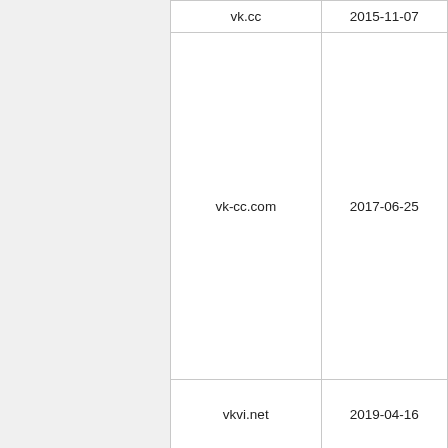| Domain | Date |
| --- | --- |
| vk.cc | 2015-11-07 |
| vk-cc.com | 2017-06-25 |
| vkvi.net | 2019-04-16 |
| vqr.mx | 2018-12-12 |
| vurl.com | 2019-05-26 |